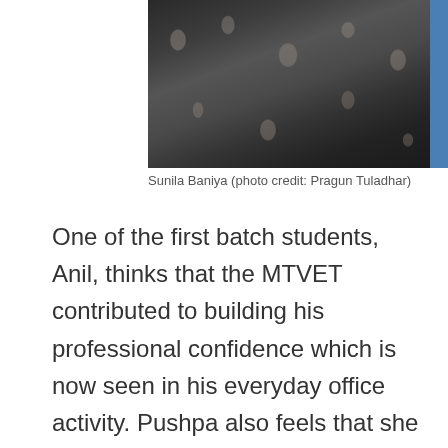[Figure (photo): Photo of Sunila Baniya, a woman wearing a black floral patterned top, photographed from roughly chest up. Photo credit: Pragun Tuladhar.]
Sunila Baniya (photo credit: Pragun Tuladhar)
One of the first batch students, Anil, thinks that the MTVET contributed to building his professional confidence which is now seen in his everyday office activity. Pushpa also feels that she is now a changed person: “I am now more confident to consolidate my TVET based skills training activities to jailed person and rehabilitate and reintegrate them into the society once they are out from jail.” Another graduate Sunila also echoes a similar